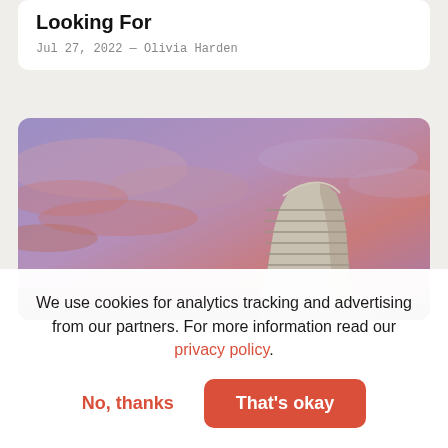Looking For
Jul 27, 2022 — Olivia Harden
[Figure (photo): Architectural photo of a modern curved multi-story building against a dramatic purple and pink sunset sky with clouds]
We use cookies for analytics tracking and advertising from our partners. For more information read our privacy policy.
No, thanks | That's okay